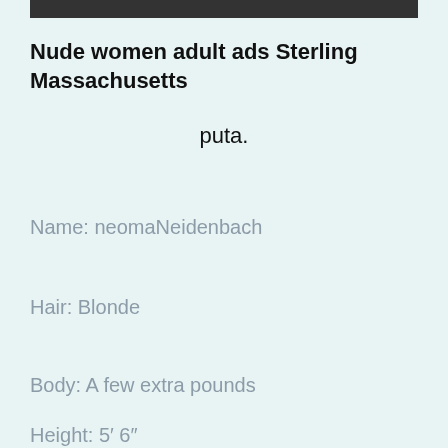[Figure (photo): Partial photo strip at the top of the page, mostly cropped out]
Nude women adult ads Sterling Massachusetts
puta.
Name: neomaNeidenbach
Hair: Blonde
Body: A few extra pounds
Height: 5′ 6″